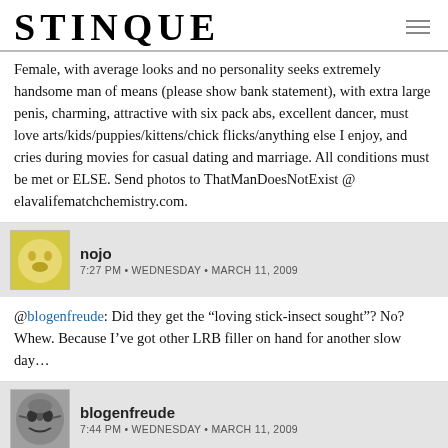STINQUE
Female, with average looks and no personality seeks extremely handsome man of means (please show bank statement), with extra large penis, charming, attractive with six pack abs, excellent dancer, must love arts/kids/puppies/kittens/chick flicks/anything else I enjoy, and cries during movies for casual dating and marriage. All conditions must be met or ELSE. Send photos to ThatManDoesNotExist @ elavalifematchchemistry.com.
nojo
7:27 PM • WEDNESDAY • MARCH 11, 2009
@blogenfreude: Did they get the “loving stick-insect sought”? No? Whew. Because I’ve got other LRB filler on hand for another slow day…
blogenfreude
7:44 PM • WEDNESDAY • MARCH 11, 2009